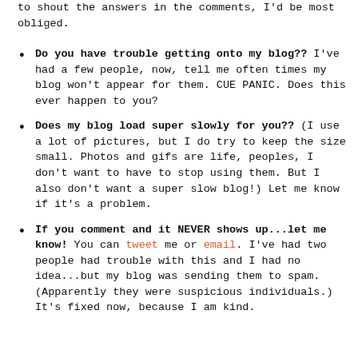to shout the answers in the comments, I'd be most obliged.
Do you have trouble getting onto my blog?? I've had a few people, now, tell me often times my blog won't appear for them. CUE PANIC. Does this ever happen to you?
Does my blog load super slowly for you?? (I use a lot of pictures, but I do try to keep the size small. Photos and gifs are life, peoples, I don't want to have to stop using them. But I also don't want a super slow blog!) Let me know if it's a problem.
If you comment and it NEVER shows up...let me know! You can tweet me or email. I've had two people had trouble with this and I had no idea...but my blog was sending them to spam. (Apparently they were suspicious individuals.) It's fixed now, because I am kind.